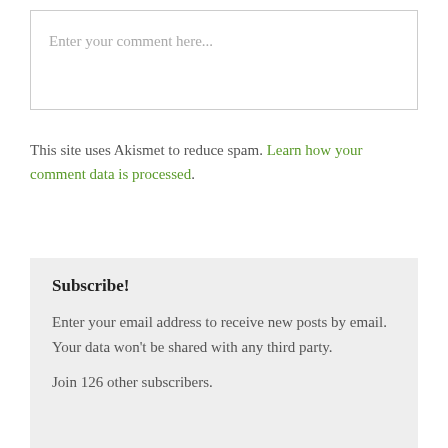Enter your comment here...
This site uses Akismet to reduce spam. Learn how your comment data is processed.
Subscribe!
Enter your email address to receive new posts by email. Your data won't be shared with any third party.
Join 126 other subscribers.